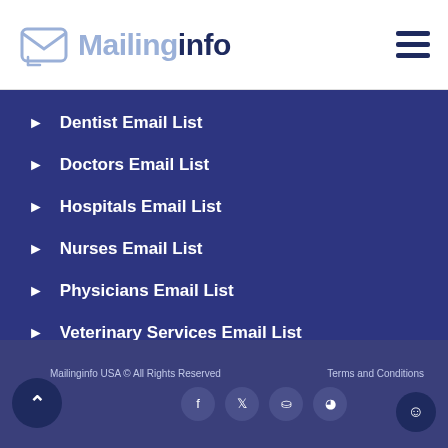MailingInfo
Dentist Email List
Doctors Email List
Hospitals Email List
Nurses Email List
Physicians Email List
Veterinary Services Email List
Mailinginfo USA © All Rights Reserved   Terms and Conditions